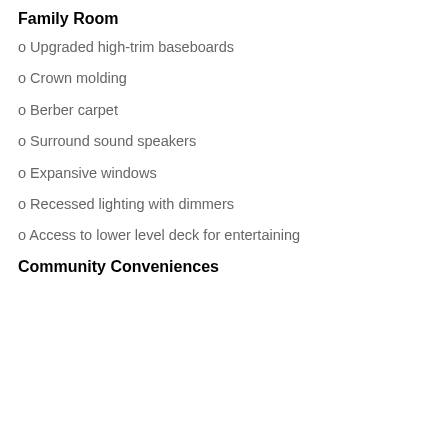Family Room
o Upgraded high-trim baseboards
o Crown molding
o Berber carpet
o Surround sound speakers
o Expansive windows
o Recessed lighting with dimmers
o Access to lower level deck for entertaining
Community Conveniences